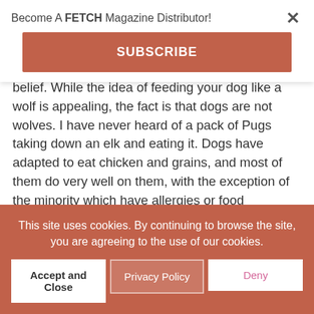Become A FETCH Magazine Distributor!
SUBSCRIBE
belief. While the idea of feeding your dog like a wolf is appealing, the fact is that dogs are not wolves. I have never heard of a pack of Pugs taking down an elk and eating it. Dogs have adapted to eat chicken and grains, and most of them do very well on them, with the exception of the minority which have allergies or food intolerances.
This site uses cookies. By continuing to browse the site, you are agreeing to the use of our cookies.
Accept and Close
Privacy Policy
Deny